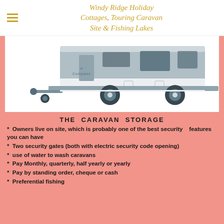Windy Ridge Holiday Cottages, Touring Caravan Site & Fishing Lakes
[Figure (photo): A touring caravan (silver and grey) photographed from the front-side angle, showing the tow hitch, wheels and body panels, on a white background.]
THE CARAVAN STORAGE
* Owners live on site, which is probably one of the best security features you can have
* Two security gates (both with electric security code opening)
* use of water to wash caravans
* Pay Monthly, quarterly, half yearly or yearly
* Pay by standing order, cheque or cash
* Preferential fishing